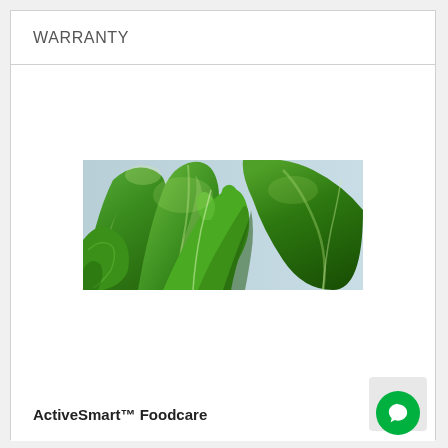WARRANTY
[Figure (photo): Close-up photograph of fresh green lettuce leaves with light reflecting off the surface, on a light blue-grey background]
ActiveSmart™ Foodcare